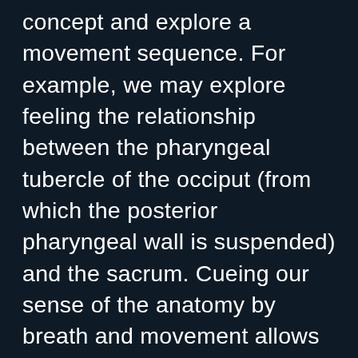concept and explore a movement sequence. For example, we may explore feeling the relationship between the pharyngeal tubercle of the occiput (from which the posterior pharyngeal wall is suspended) and the sacrum. Cueing our sense of the anatomy by breath and movement allows us to enter a state of open attention and observe this relationship from a new perspective. Depending upon the theme, the work may be done with music, or in silence. Continuum can be done in a group